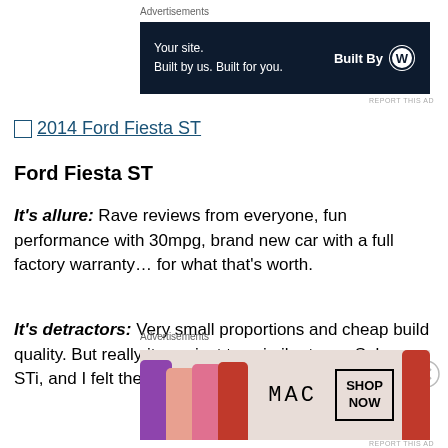Advertisements
[Figure (screenshot): Dark navy blue WordPress advertisement banner: 'Your site. Built by us. Built for you.' with 'Built By' WordPress logo on right]
REPORT THIS AD
2014 Ford Fiesta ST (linked image/text)
Ford Fiesta ST
It's allure: Rave reviews from everyone, fun performance with 30mpg, brand new car with a full factory warranty… for what that's worth.
It's detractors: Very small proportions and cheap build quality. But really it was just too similar to my Subaru STi, and I felt the two would conflict.
Advertisements
[Figure (screenshot): MAC cosmetics advertisement showing lipsticks on left, MAC logo in center, and SHOP NOW box on right]